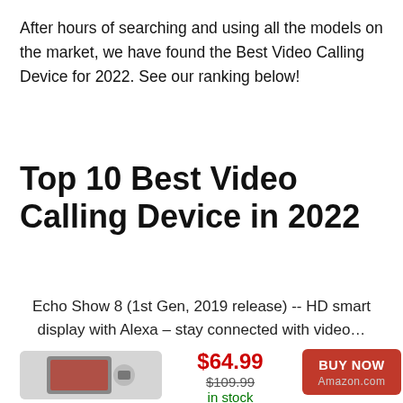After hours of searching and using all the models on the market, we have found the Best Video Calling Device for 2022. See our ranking below!
Top 10 Best Video Calling Device in 2022
Echo Show 8 (1st Gen, 2019 release) -- HD smart display with Alexa – stay connected with video…
$64.99
$109.99
in stock
2 used from $36.96
[Figure (other): Product image of Echo Show 8 device showing a video call]
BUY NOW
Amazon.com